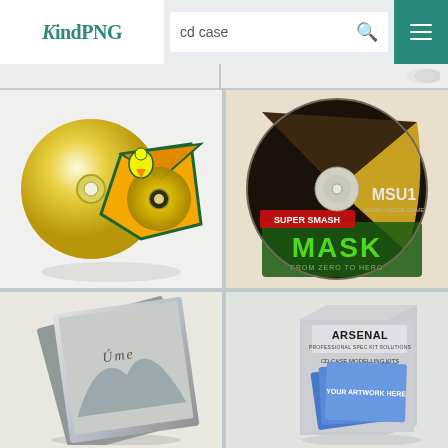[Figure (screenshot): KindPNG website screenshot showing a search for 'cd case' with logo, search bar, hamburger menu, and a grid of CD case images including: a cartoon CD with yellow envelope icon, The Mask movie CD (MSU1), a UME album jewel case, and Arsenal professional product mockup box]
KindPNG   cd case   [search icon]   [menu]